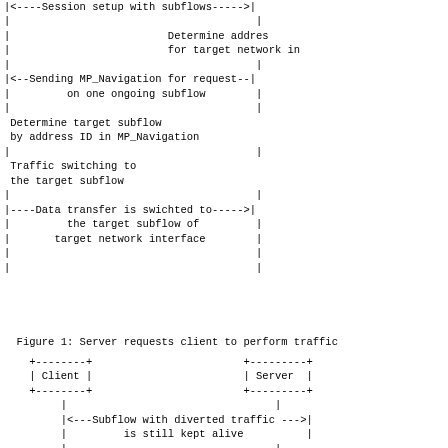[Figure (schematic): Sequence diagram (top portion) showing server requesting client to perform traffic switching. Shows session setup with subflows, MP_Navigation for request on one ongoing subflow, determination of target subflow by address ID, traffic switching to target subflow, and data transfer switched to target subflow of target network interface.]
Figure 1: Server requests client to perform traffic
[Figure (schematic): Second sequence diagram (bottom portion) showing Client and Server boxes, subflow with diverted traffic kept alive, and determination to cancel MP_Navigation for target network interface.]